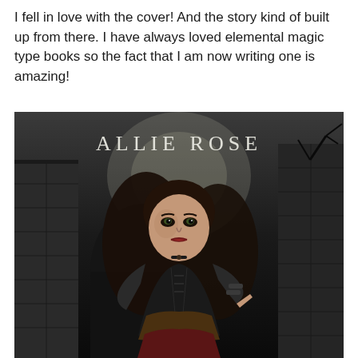I fell in love with the cover! And the story kind of built up from there. I have always loved elemental magic type books so the fact that I am now writing one is amazing!
[Figure (illustration): Dark fantasy book cover illustration showing a young woman with long dark wavy hair, wearing black leather armor with a lace-up corset in dark red/gold. She is posed against a dark stone castle backdrop with moonlight. Text 'ALLIE ROSE' appears at the top of the image in elegant serif font.]